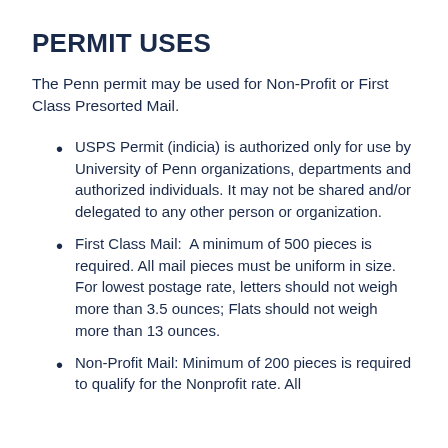PERMIT USES
The Penn permit may be used for Non-Profit or First Class Presorted Mail.
USPS Permit (indicia) is authorized only for use by University of Penn organizations, departments and authorized individuals. It may not be shared and/or delegated to any other person or organization.
First Class Mail:  A minimum of 500 pieces is required. All mail pieces must be uniform in size. For lowest postage rate, letters should not weigh more than 3.5 ounces; Flats should not weigh more than 13 ounces.
Non-Profit Mail: Minimum of 200 pieces is required to qualify for the Nonprofit rate. All